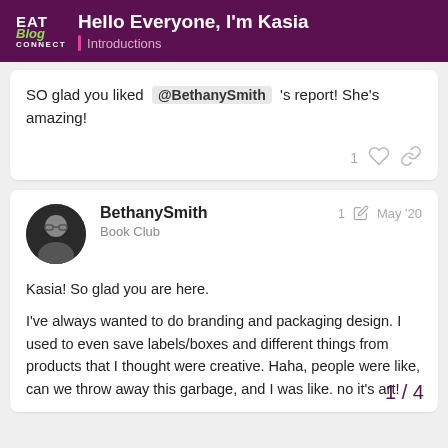EAT Blog CONNECT | Hello Everyone, I'm Kasia | Introductions
SO glad you liked @BethanySmith 's report! She's amazing!
BethanySmith
Book Club
1  May '20
Kasia! So glad you are here.

I've always wanted to do branding and packaging design. I used to even save labels/boxes and different things from products that I thought were creative. Haha, people were like, can we throw away this garbage, and I was like. no it's art!
1 / 4